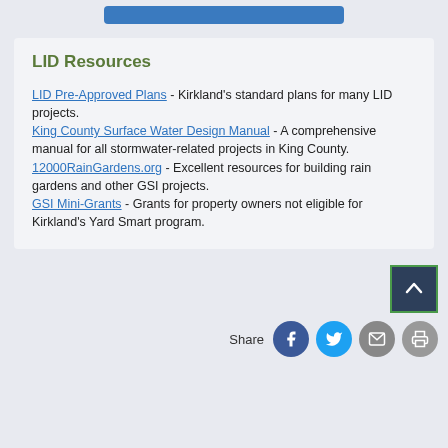LID Resources
LID Pre-Approved Plans - Kirkland's standard plans for many LID projects. King County Surface Water Design Manual - A comprehensive manual for all stormwater-related projects in King County. 12000RainGardens.org - Excellent resources for building rain gardens and other GSI projects. GSI Mini-Grants - Grants for property owners not eligible for Kirkland's Yard Smart program.